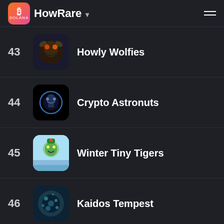HowRare
43 Howly Wolfies
44 Crypto Astronuts
45 Winter Tiny Tigers
46 Kaidos Tempest
47 INFOMO DOCTORS
48 AnimeX